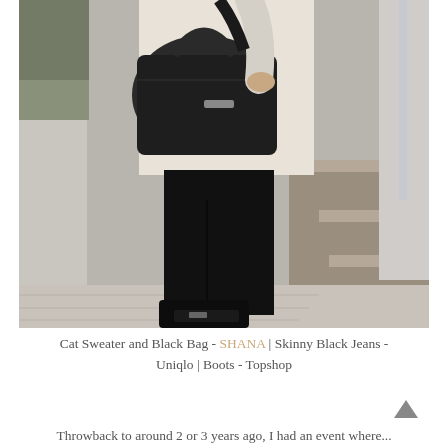[Figure (photo): Fashion blog photo of a person standing outdoors near stone steps and a water feature. The person is wearing a cream/white cat sweater, black skinny jeans, black buckle boots, and carrying a large black leather tote bag. Only the torso down is visible.]
Cat Sweater and Black Bag - SHANA | Skinny Black Jeans - Uniqlo | Boots - Topshop
Throwback to around 2 or 3 years ago, I had an event where...